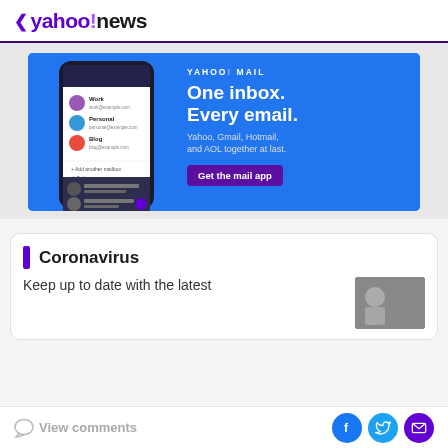< yahoo!news
[Figure (screenshot): Yahoo Mail advertisement banner showing a phone mockup with inbox screen on left and 'YAHOO! MAIL - One inbox. Every email. Yahoo, Gmail, Hotmail, and AOL together at last.' text with 'Get the mail app' button on right, blue background]
Coronavirus
Keep up to date with the latest
View comments